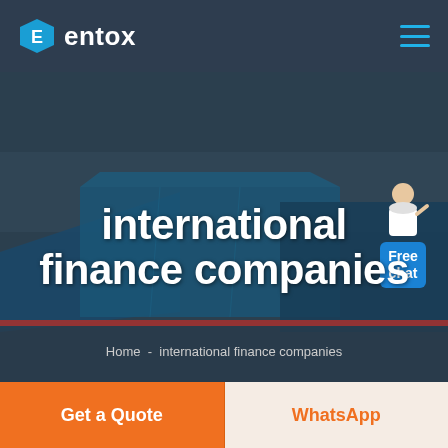entox
[Figure (screenshot): Hero banner showing aerial view of an industrial warehouse/factory complex with large blue roofed buildings, overlaid with dark tint. Includes a 'Free chat' widget with an avatar of a person on the right side.]
international finance companies
Home  -  international finance companies